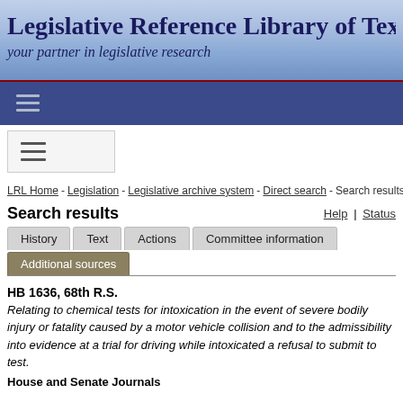Legislative Reference Library of Texas
your partner in legislative research
LRL Home - Legislation - Legislative archive system - Direct search - Search results
Search results
Help | Status
History | Text | Actions | Committee information | Additional sources
HB 1636, 68th R.S.
Relating to chemical tests for intoxication in the event of severe bodily injury or fatality caused by a motor vehicle collision and to the admissibility into evidence at a trial for driving while intoxicated a refusal to submit to test.
House and Senate Journals